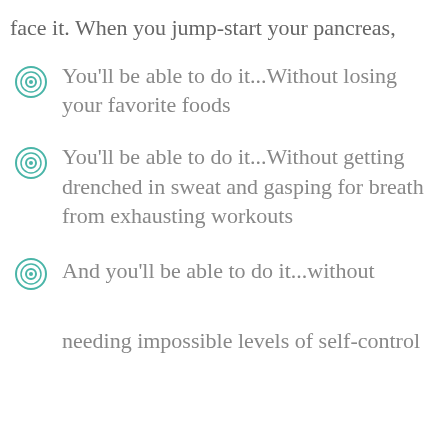face it. When you jump-start your pancreas,
You'll be able to do it...Without losing your favorite foods
You'll be able to do it...Without getting drenched in sweat and gasping for breath from exhausting workouts
And you'll be able to do it...without needing impossible levels of self-control